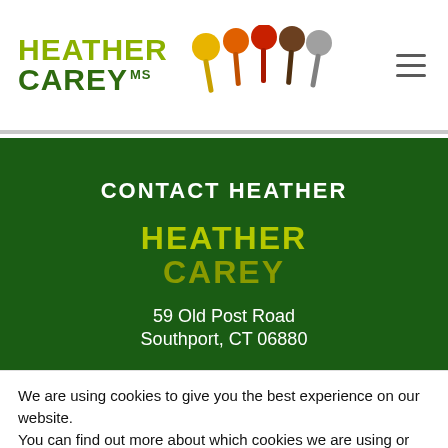HEATHER CAREY MS
CONTACT HEATHER
[Figure (logo): Heather Carey logo in green and yellow-green on dark green background]
59 Old Post Road
Southport, CT 06880
We are using cookies to give you the best experience on our website.
You can find out more about which cookies we are using or switch them off in settings.
Accept